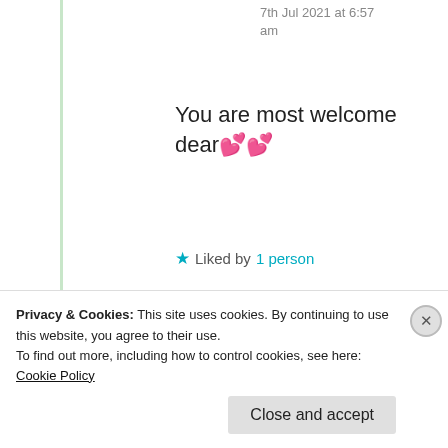7th Jul 2021 at 6:57 am
You are most welcome dear 💕💕
★ Liked by 1 person
Jyothi
6th Jul 2021 at 3:07 pm
Privacy & Cookies: This site uses cookies. By continuing to use this website, you agree to their use.
To find out more, including how to control cookies, see here: Cookie Policy
[Close and accept]